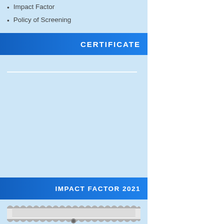Impact Factor
Policy of Screening
CERTIFICATE
IMPACT FACTOR 2021
[Figure (illustration): Decorative scroll/ribbon image at the bottom, partially visible, appears to be a certificate or award scroll graphic]